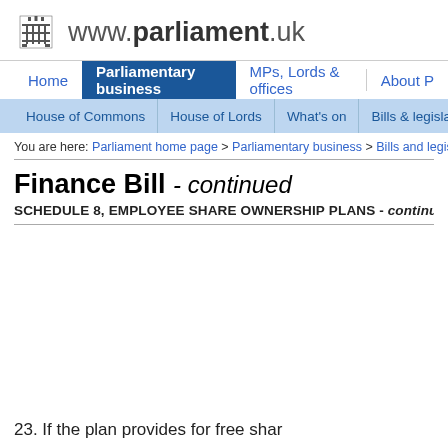www.parliament.uk
Home | Parliamentary business | MPs, Lords & offices | About P
House of Commons | House of Lords | What's on | Bills & legislation
You are here: Parliament home page > Parliamentary business > Bills and legislation
Finance Bill - continued
SCHEDULE 8, EMPLOYEE SHARE OWNERSHIP PLANS - continu
23. If the plan provides for free shar